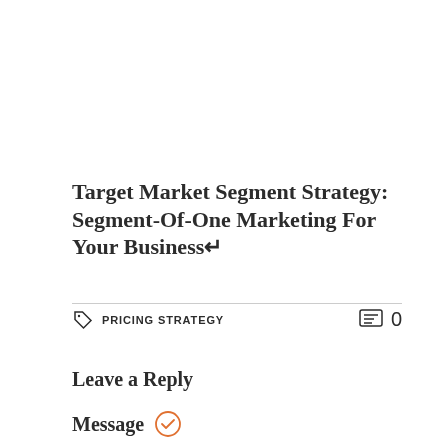Target Market Segment Strategy: Segment-Of-One Marketing For Your Business↵
PRICING STRATEGY   0
Leave a Reply
Message ✓